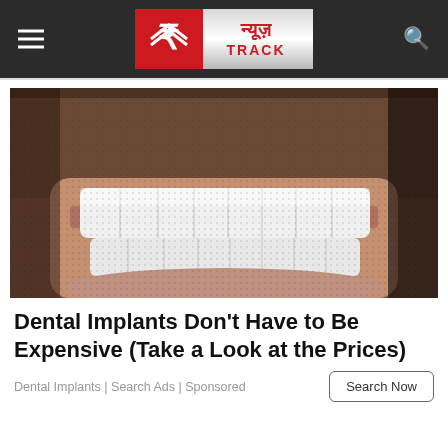[Figure (logo): News Track logo with Hindi text न्यूज़ and TRACK on grey/silver background, red square with stylized N icon, hamburger menu on left, search icon on right, dark header bar]
[Figure (photo): Close-up photo of a man's lower face showing bright white dental implants/teeth with stubble beard visible]
Dental Implants Don't Have to Be Expensive (Take a Look at the Prices)
Dental Implants | Search Ads | Sponsored